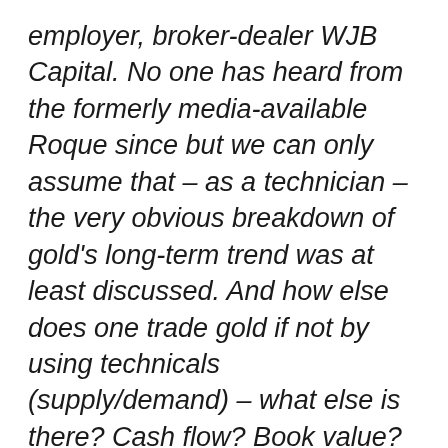employer, broker-dealer WJB Capital. No one has heard from the formerly media-available Roque since but we can only assume that – as a technician – the very obvious breakdown of gold's long-term trend was at least discussed. And how else does one trade gold if not by using technicals (supply/demand) – what else is there? Cash flow? Book value?
5. Lastly, the last public interview given by George Soros was to the South China Morning Post on April